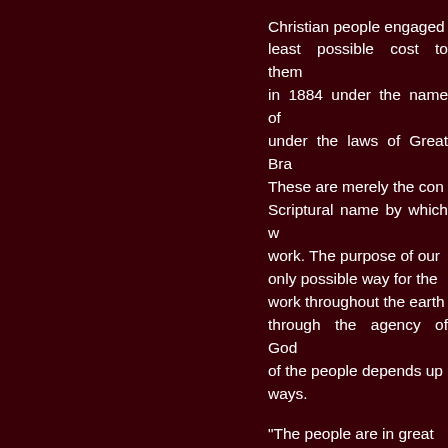Christian people engaged at least possible cost to them in 1884 under the name of under the laws of Great Bra These are merely the con Scriptural name by which w work. The purpose of our only possible way for the work throughout the earth through the agency of God of the people depends up ways.

"The people are in great condition and what is the Instead of collecting mone men in luxury, we print the that they may, at the least  them.

"A careful examination of d promulgated by the presen in our publications, and sh attained by all persons wh literature and our work's